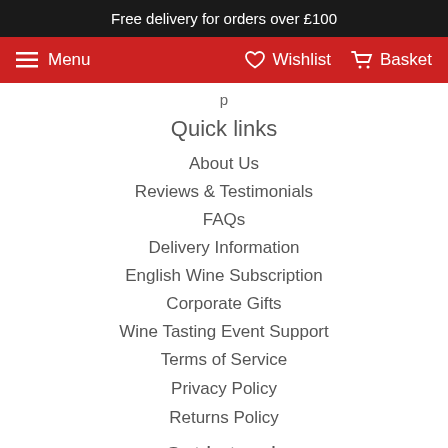Free delivery for orders over £100
Menu   Wishlist   Basket
p
Quick links
About Us
Reviews & Testimonials
FAQs
Delivery Information
English Wine Subscription
Corporate Gifts
Wine Tasting Event Support
Terms of Service
Privacy Policy
Returns Policy
Get in touch